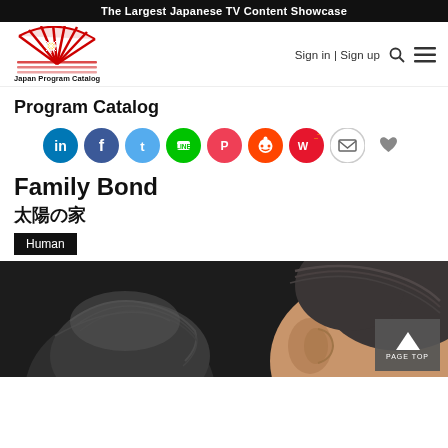The Largest Japanese TV Content Showcase
[Figure (logo): Japan Program Catalog logo — red fan/book shape with starburst, text 'Japan Program Catalog' below]
Sign in | Sign up
Program Catalog
[Figure (infographic): Social sharing icons row: LinkedIn (blue), Facebook (dark blue), Twitter (light blue), LINE (green), Pocket (red-pink), Reddit (orange-red), Weibo (red with orange flame), Mail (envelope outline), Favorite heart (grey)]
Family Bond
太陽の家
Human
[Figure (photo): Close-up photo of two people, showing the tops/backs of their heads, dark hair, warm skin tones, dark background. A grey 'PAGE TOP' button with upward arrow is overlaid in the bottom-right corner.]